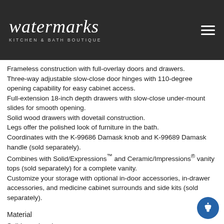[Figure (logo): Watermarks Kitchen & Bath Boutique logo on dark background with hamburger menu icon]
Frameless construction with full-overlay doors and drawers.
Three-way adjustable slow-close door hinges with 110-degree opening capability for easy cabinet access.
Full-extension 18-inch depth drawers with slow-close under-mount slides for smooth opening.
Solid wood drawers with dovetail construction.
Legs offer the polished look of furniture in the bath.
Coordinates with the K-99686 Damask knob and K-99689 Damask handle (sold separately).
Combines with Solid/Expressions™ and Ceramic/Impressions® vanity tops (sold separately) for a complete vanity.
Customize your storage with optional in-door accessories, in-drawer accessories, and medicine cabinet surrounds and side kits (sold separately).
Material
Solid wood and veneers.
Wood is a living material, and its beauty is enhanced by natural variations in grain, color, and pattern. No two pieces of wood are